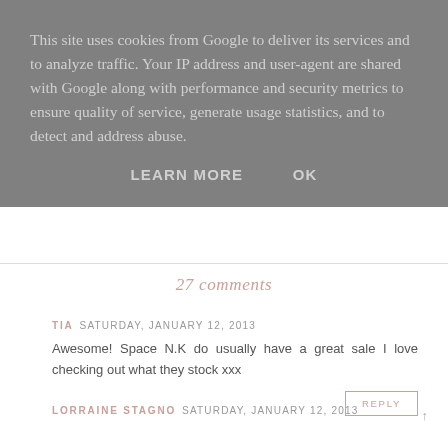This site uses cookies from Google to deliver its services and to analyze traffic. Your IP address and user-agent are shared with Google along with performance and security metrics to ensure quality of service, generate usage statistics, and to detect and address abuse.
LEARN MORE   OK
27 comments
TIA  Saturday, January 12, 2013
Awesome! Space N.K do usually have a great sale I love checking out what they stock xxx
REPLY
LORRAINE STAGNO  Saturday, January 12, 2013